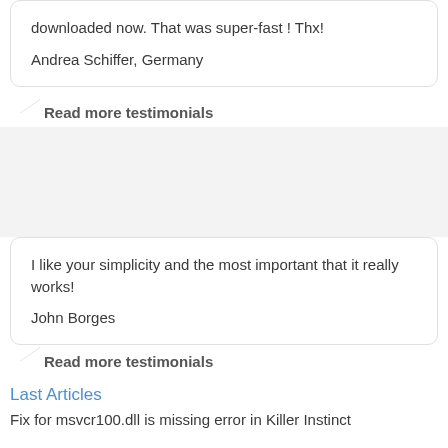downloaded now. That was super-fast ! Thx!
Andrea Schiffer, Germany
Read more testimonials
I like your simplicity and the most important that it really works!
John Borges
Read more testimonials
Last Articles
Fix for msvcr100.dll is missing error in Killer Instinct